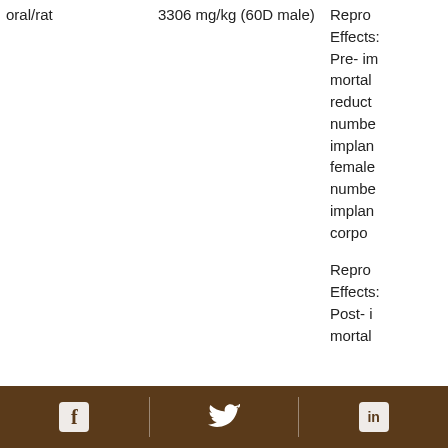| Route/Species | Dose | Effects |
| --- | --- | --- |
| oral/rat | 3306 mg/kg (60D male) | Reproductive Effects: Pre- implantation mortality reduction number of implants per female number of implants per corpora

Reproductive Effects: Post- implantation mortality |
Facebook | Twitter | LinkedIn